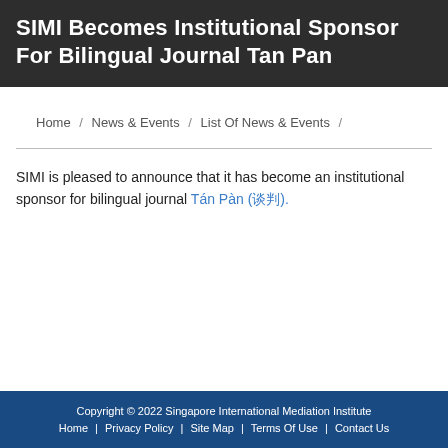SIMI Becomes Institutional Sponsor For Bilingual Journal Tan Pan
Home / News & Events / List Of News & Events /
SIMI is pleased to announce that it has become an institutional sponsor for bilingual journal Tán Pàn (谈判).
Copyright © 2022 Singapore International Mediation Institute
Home | Privacy Policy | Site Map | Terms Of Use | Contact Us